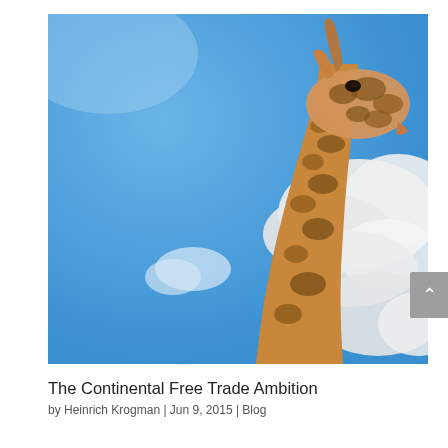[Figure (photo): Low-angle photograph of a giraffe's neck and head against a blue sky with white clouds. The giraffe's distinctive brown and white patterned coat is visible, with the head tilting to the right at the top of the frame.]
The Continental Free Trade Ambition
by Heinrich Krogman | Jun 9, 2015 | Blog